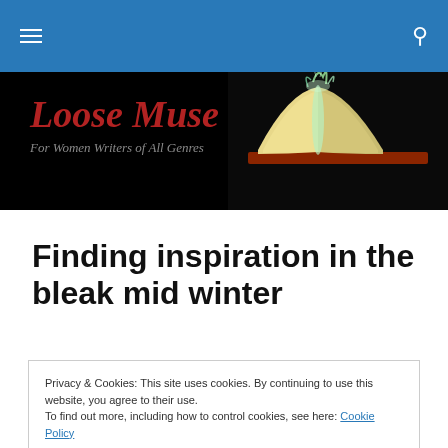≡  🔍
[Figure (illustration): Loose Muse website banner with logo text 'Loose Muse – For Women Writers of All Genres' on black background with a glowing open book on the right side]
Finding inspiration in the bleak mid winter
Privacy & Cookies: This site uses cookies. By continuing to use this website, you agree to their use.
To find out more, including how to control cookies, see here: Cookie Policy
Close and accept